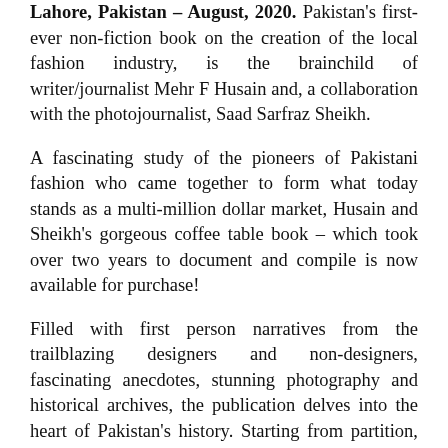Lahore, Pakistan – August, 2020. Pakistan's first-ever non-fiction book on the creation of the local fashion industry, is the brainchild of writer/journalist Mehr F Husain and, a collaboration with the photojournalist, Saad Sarfraz Sheikh.
A fascinating study of the pioneers of Pakistani fashion who came together to form what today stands as a multi-million dollar market, Husain and Sheikh's gorgeous coffee table book – which took over two years to document and compile is now available for purchase!
Filled with first person narratives from the trailblazing designers and non-designers, fascinating anecdotes, stunning photography and historical archives, the publication delves into the heart of Pakistan's history. Starting from partition, the book documents the journey of a people who sought to dress and adorn a new country, giving the Pakistani nation a multi-faceted identity that has remained unexplored...till now.
Husain and Sheikh's book goes beyond the aesthetics by gently uncovering a history, heritage, and culture, and